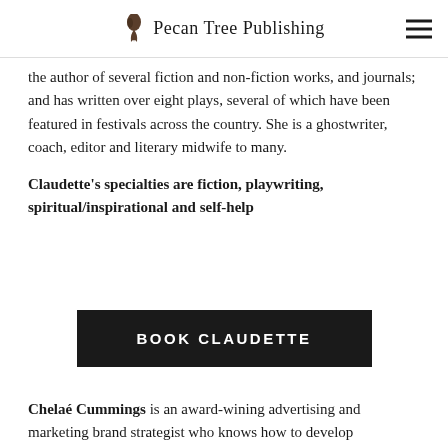Pecan Tree Publishing
the author of several fiction and non-fiction works, and journals; and has written over eight plays, several of which have been featured in festivals across the country. She is a ghostwriter, coach, editor and literary midwife to many.
Claudette's specialties are fiction, playwriting, spiritual/inspirational and self-help
BOOK CLAUDETTE
Chelaé Cummings is an award-wining advertising and marketing brand strategist who knows how to develop campaigns to